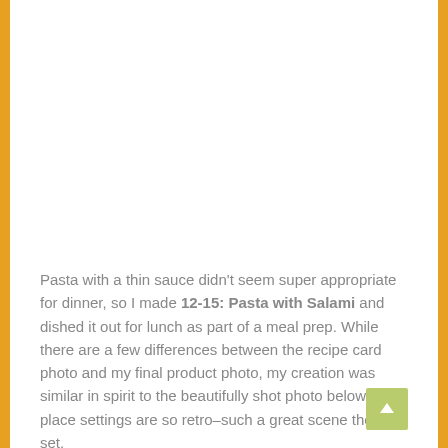Pasta with a thin sauce didn't seem super appropriate for dinner, so I made 12-15: Pasta with Salami and dished it out for lunch as part of a meal prep. While there are a few differences between the recipe card photo and my final product photo, my creation was similar in spirit to the beautifully shot photo below. The place settings are so retro–such a great scene they set.